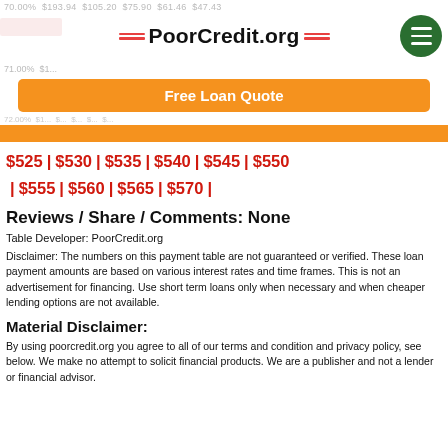PoorCredit.org — Free Loan Quote
$525 | $530 | $535 | $540 | $545 | $550 | $555 | $560 | $565 | $570 |
Reviews / Share / Comments: None
Table Developer: PoorCredit.org
Disclaimer: The numbers on this payment table are not guaranteed or verified. These loan payment amounts are based on various interest rates and time frames. This is not an advertisement for financing. Use short term loans only when necessary and when cheaper lending options are not available.
Material Disclaimer:
By using poorcredit.org you agree to all of our terms and condition and privacy policy, see below. We make no attempt to solicit financial products. We are a publisher and not a lender or financial advisor.